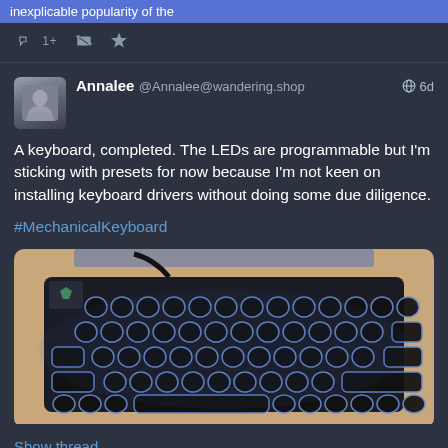inexplicable popularity of the
1+ [retweet icon] [star icon]
Annalee @Annalee@wandering.shop   6d
A keyboard, completed. The LEDs are programmable but I'm sticking with presets for now because I'm not keen on installing keyboard drivers without doing some due diligence.

#MechanicalKeyboard
[Figure (photo): A mechanical keyboard with round typewriter-style keycaps with blue LED backlighting, sitting on a wooden desk surface. A laptop is partially visible in the background. The keyboard has a black USB cable and features a vintage aesthetic with circular keys.]
Show thread